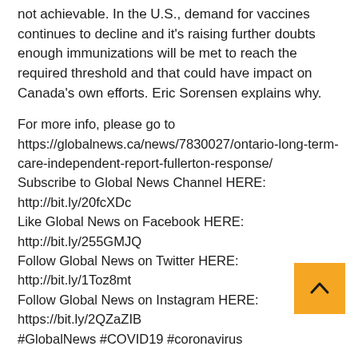not achievable. In the U.S., demand for vaccines continues to decline and it's raising further doubts enough immunizations will be met to reach the required threshold and that could have impact on Canada's own efforts. Eric Sorensen explains why.
For more info, please go to https://globalnews.ca/news/7830027/ontario-long-term-care-independent-report-fullerton-response/ Subscribe to Global News Channel HERE: http://bit.ly/20fcXDc Like Global News on Facebook HERE: http://bit.ly/255GMJQ Follow Global News on Twitter HERE: http://bit.ly/1Toz8mt Follow Global News on Instagram HERE: https://bit.ly/2QZaZIB #GlobalNews #COVID19 #coronavirus
Source: Global News